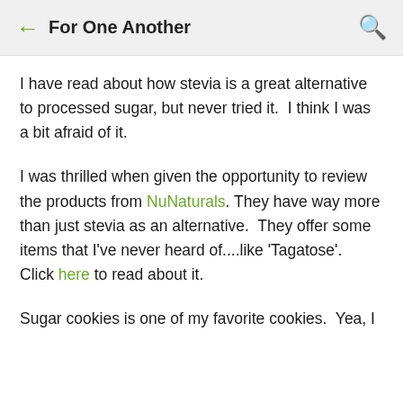← For One Another 🔍
I have read about how stevia is a great alternative to processed sugar, but never tried it.  I think I was a bit afraid of it.
I was thrilled when given the opportunity to review the products from NuNaturals. They have way more than just stevia as an alternative.  They offer some items that I've never heard of....like 'Tagatose'.  Click here to read about it.
Sugar cookies is one of my favorite cookies.  Yea, I